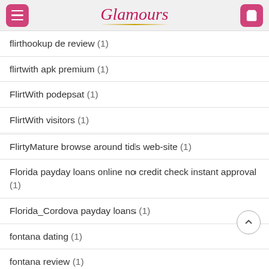Glamours
flirthookup de review (1)
flirtwith apk premium (1)
FlirtWith podepsat (1)
FlirtWith visitors (1)
FlirtyMature browse around tids web-site (1)
Florida payday loans online no credit check instant approval (1)
Florida_Cordova payday loans (1)
fontana dating (1)
fontana review (1)